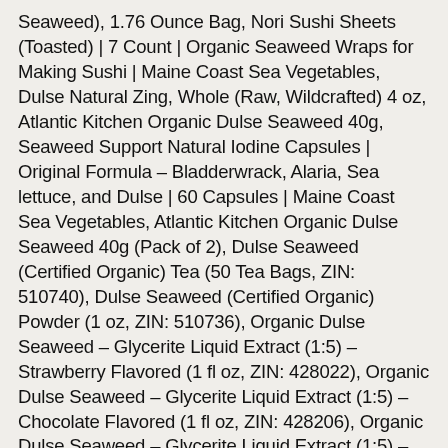Seaweed), 1.76 Ounce Bag, Nori Sushi Sheets (Toasted) | 7 Count | Organic Seaweed Wraps for Making Sushi | Maine Coast Sea Vegetables, Dulse Natural Zing, Whole (Raw, Wildcrafted) 4 oz, Atlantic Kitchen Organic Dulse Seaweed 40g, Seaweed Support Natural Iodine Capsules | Original Formula - Bladderwrack, Alaria, Sea lettuce, and Dulse | 60 Capsules | Maine Coast Sea Vegetables, Atlantic Kitchen Organic Dulse Seaweed 40g (Pack of 2), Dulse Seaweed (Certified Organic) Tea (50 Tea Bags, ZIN: 510740), Dulse Seaweed (Certified Organic) Powder (1 oz, ZIN: 510736), Organic Dulse Seaweed – Glycerite Liquid Extract (1:5) – Strawberry Flavored (1 fl oz, ZIN: 428022), Organic Dulse Seaweed – Glycerite Liquid Extract (1:5) – Chocolate Flavored (1 fl oz, ZIN: 428206), Organic Dulse Seaweed – Glycerite Liquid Extract (1:5) – Mint Flavored (1 fl oz, ZIN: 428287), Dulse Seaweed Glycerite Liquid Extract (1:5) – Chocolate Flavored (1 oz, ZIN: 513134), Dulse Seaweed Glycerite Liquid Extract (1:5) – Mint Flavored (1 oz, ZIN: 513133), Dulse Seaweed Glycerite Liquid Extract (1:5) – Strawberry Flavored (1 oz, ZIN: 513132), Dulse Seaweed Glycerite Liquid Extract (1:5) – No Flavor (1 oz, ZIN: 513131), Atlantic Kitchen Organic Dulse Seaweed 40g (Pack of 3), Atlantic Kitchen Organic Dulse Seaweed 40g (Pack of 4),